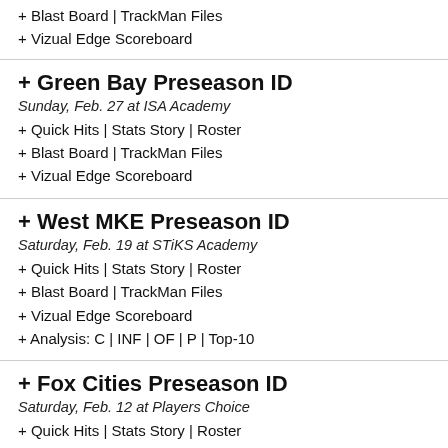+ Blast Board | TrackMan Files
+ Vizual Edge Scoreboard
+ Green Bay Preseason ID
Sunday, Feb. 27 at ISA Academy
+ Quick Hits | Stats Story | Roster
+ Blast Board | TrackMan Files
+ Vizual Edge Scoreboard
+ West MKE Preseason ID
Saturday, Feb. 19 at STiKS Academy
+ Quick Hits | Stats Story | Roster
+ Blast Board | TrackMan Files
+ Vizual Edge Scoreboard
+ Analysis: C | INF | OF | P | Top-10
+ Fox Cities Preseason ID
Saturday, Feb. 12 at Players Choice
+ Quick Hits | Stats Story | Roster
+ Blast Board | TrackMan Files
+ Vizual Edge Scoreboard
+ Position Player Analysis
+ Pitcher Analysis
+ Top Overall
+ Kenosha Preseason ID